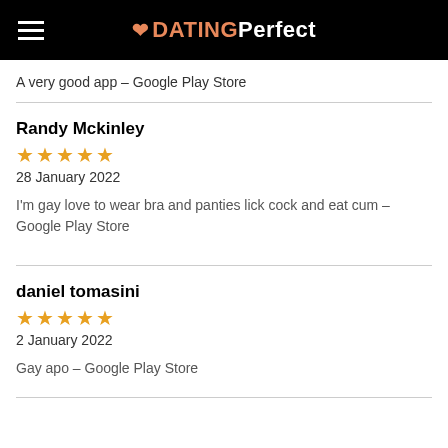DATING Perfect
A very good app – Google Play Store
Randy Mckinley
★★★★★ 28 January 2022
I'm gay love to wear bra and panties lick cock and eat cum – Google Play Store
daniel tomasini
★★★★★ 2 January 2022
Gay apo – Google Play Store